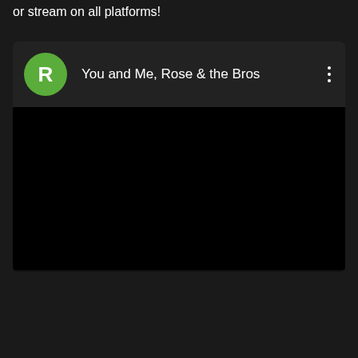or stream on all platforms!
[Figure (screenshot): A music or podcast app card showing a green circular avatar with the letter R and the title 'You and Me, Rose & the Bros', with a three-dot menu icon on the right and a black content area below.]